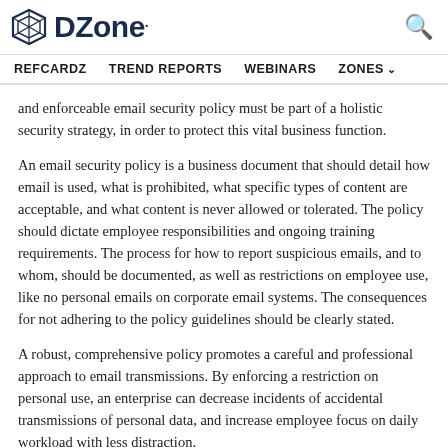DZone. [search icon]
REFCARDZ   TREND REPORTS   WEBINARS   ZONES
and enforceable email security policy must be part of a holistic security strategy, in order to protect this vital business function.
An email security policy is a business document that should detail how email is used, what is prohibited, what specific types of content are acceptable, and what content is never allowed or tolerated. The policy should dictate employee responsibilities and ongoing training requirements. The process for how to report suspicious emails, and to whom, should be documented, as well as restrictions on employee use, like no personal emails on corporate email systems. The consequences for not adhering to the policy guidelines should be clearly stated.
A robust, comprehensive policy promotes a careful and professional approach to email transmissions. By enforcing a restriction on personal use, an enterprise can decrease incidents of accidental transmissions of personal data, and increase employee focus on daily workload with less distraction.